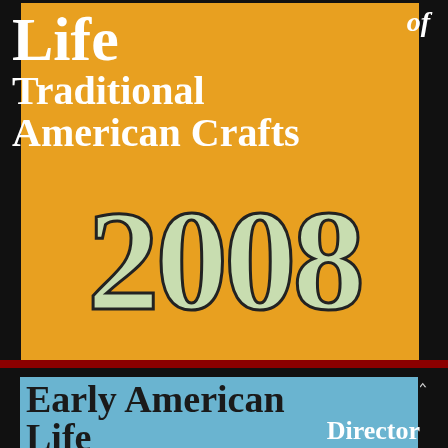[Figure (illustration): Top portion: Yellow/orange book cover with white bold serif text reading 'Life of Traditional American Crafts 2008' with large light green '2008' numerals with dark outline. Bottom portion: Light blue book cover with 'Early American Life' in large bold serif text and partial word 'Director' visible in white.]